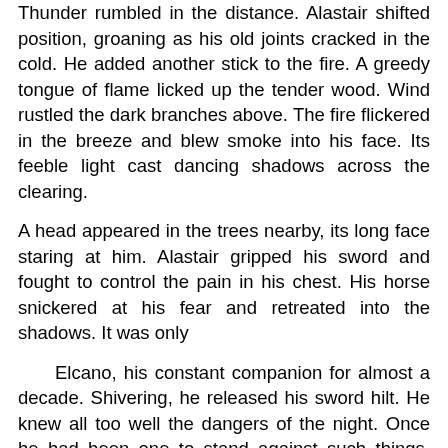Thunder rumbled in the distance. Alastair shifted position, groaning as his old joints cracked in the cold. He added another stick to the fire. A greedy tongue of flame licked up the tender wood. Wind rustled the dark branches above. The fire flickered in the breeze and blew smoke into his face. Its feeble light cast dancing shadows across the clearing.
A head appeared in the trees nearby, its long face staring at him. Alastair gripped his sword and fought to control the pain in his chest. His horse snickered at his fear and retreated into the shadows. It was only
Elcano, his constant companion for almost a decade. Shivering, he released his sword hilt. He knew all too well the dangers of the night. Once he had been one to stand against such things. Now, though...
He shook his head to clear the morbid thoughts. He was still a warrior, and creatures of the dark still feared his name. Yet lately doubt had crept into his mind. It had been a long time since he'd fought the good fight, long before the ravages of time stripped away his strength. The old man shivering at autumn shadows was but a spectre of the Alastair who had